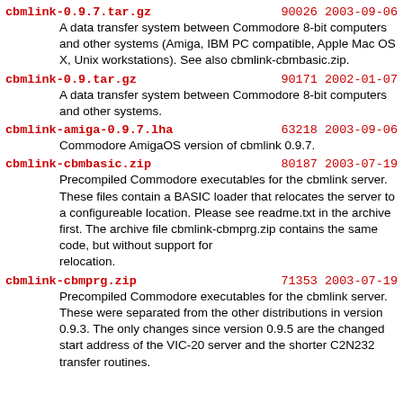cbmlink-0.9.7.tar.gz   90026 2003-09-06
A data transfer system between Commodore 8-bit computers and other systems (Amiga, IBM PC compatible, Apple Mac OS X, Unix workstations). See also cbmlink-cbmbasic.zip.
cbmlink-0.9.tar.gz   90171 2002-01-07
A data transfer system between Commodore 8-bit computers and other systems.
cbmlink-amiga-0.9.7.lha   63218 2003-09-06
Commodore AmigaOS version of cbmlink 0.9.7.
cbmlink-cbmbasic.zip   80187 2003-07-19
Precompiled Commodore executables for the cbmlink server. These files contain a BASIC loader that relocates the server to a configureable location. Please see readme.txt in the archive first. The archive file cbmlink-cbmprg.zip contains the same code, but without support for relocation.
cbmlink-cbmprg.zip   71353 2003-07-19
Precompiled Commodore executables for the cbmlink server. These were separated from the other distributions in version 0.9.3. The only changes since version 0.9.5 are the changed start address of the VIC-20 server and the shorter C2N232 transfer routines.